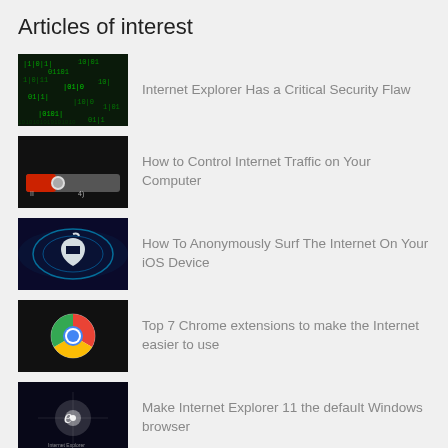Articles of interest
Internet Explorer Has a Critical Security Flaw
How to Control Internet Traffic on Your Computer
How To Anonymously Surf The Internet On Your iOS Device
Top 7 Chrome extensions to make the Internet easier to use
Make Internet Explorer 11 the default Windows browser
› All articles
Most recent searches